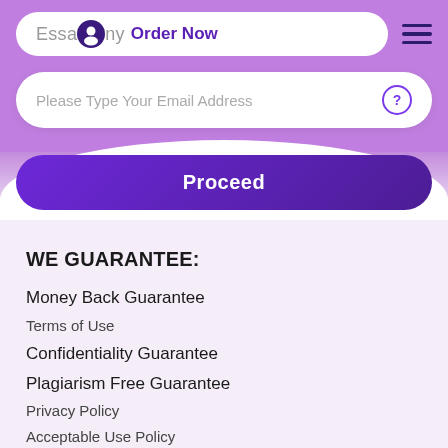EssaAny  Order Now
Please Type Your Email Address
Proceed
WE GUARANTEE:
Money Back Guarantee
Terms of Use
Confidentiality Guarantee
Plagiarism Free Guarantee
Privacy Policy
Acceptable Use Policy
WE ACCEPT: